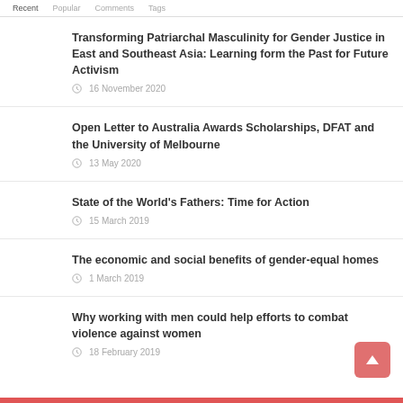Recent | Popular | Comments | Tags
Transforming Patriarchal Masculinity for Gender Justice in East and Southeast Asia: Learning form the Past for Future Activism
16 November 2020
Open Letter to Australia Awards Scholarships, DFAT and the University of Melbourne
13 May 2020
State of the World's Fathers: Time for Action
15 March 2019
The economic and social benefits of gender-equal homes
1 March 2019
Why working with men could help efforts to combat violence against women
18 February 2019